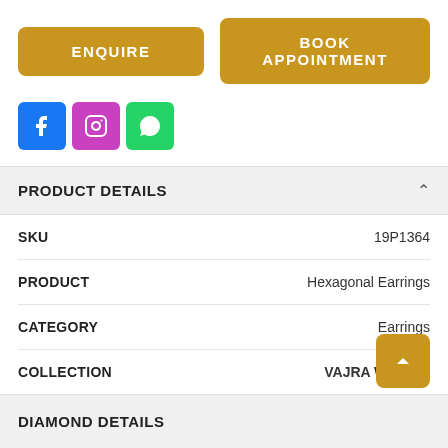[Figure (infographic): Two golden call-to-action buttons: ENQUIRE and BOOK APPOINTMENT]
[Figure (infographic): Three social media icons: Facebook (blue), Instagram (pink/purple), WhatsApp (green)]
PRODUCT DETAILS
| Field | Value |
| --- | --- |
| SKU | 19P1364 |
| PRODUCT | Hexagonal Earrings |
| CATEGORY | Earrings |
| COLLECTION | VAJRA WOMAN |
DIAMOND DETAILS